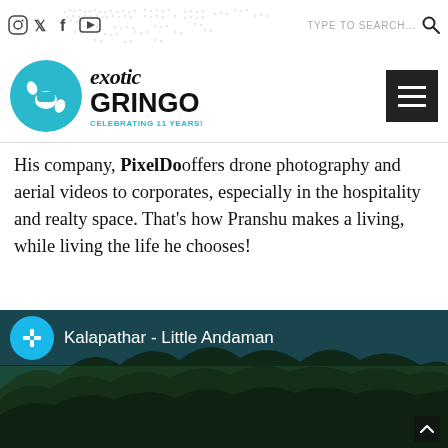Social icons: Instagram, Twitter, Facebook, YouTube | TYPE TO SEARCH... 🔍
[Figure (logo): Exotic Gringo logo with teal circle, shaka hand sign, stylized text 'exotic GRINGO' and tagline 'CELEBRATING 11 YEARS!']
His company, PixelDo offers drone photography and aerial videos to corporates, especially in the hospitality and realty space. That's how Pranshu makes a living, while living the life he chooses!
[Figure (screenshot): Vimeo video thumbnail showing 'Kalapathar - Little Andaman' with aerial view of green forested coastline and blue sea]